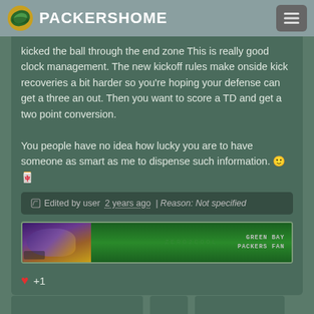PACKERSHOME
kicked the ball through the end zone This is really good clock management. The new kickoff rules make onside kick recoveries a bit harder so you're hoping your defense can get a three an out. Then you want to score a TD and get a two point conversion.

You people have no idea how lucky you are to have someone as smart as me to dispense such information. 🙂🀄
Edited by user  2 years ago  | Reason: Not specified
[Figure (screenshot): Green Bay Packers fan banner image with helmet graphic and ZeRo2Cool username text, 'GREEN BAY PACKERS FAN' text on right]
♥ +1
[Figure (screenshot): Orange RSS/subscribe button with dropdown arrow]